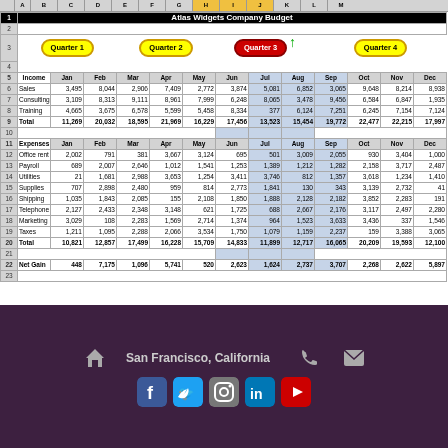Atlas Widgets Company Budget
[Figure (infographic): Quarter labels as colored ovals: Quarter 1 (yellow), Quarter 2 (yellow), Quarter 3 (red, highlighted with green arrow), Quarter 4 (yellow)]
| Income | Jan | Feb | Mar | Apr | May | Jun | Jul | Aug | Sep | Oct | Nov | Dec |
| --- | --- | --- | --- | --- | --- | --- | --- | --- | --- | --- | --- | --- |
| Sales | 3,495 | 8,044 | 2,906 | 7,409 | 2,772 | 3,874 | 5,081 | 6,852 | 3,065 | 9,648 | 8,214 | 8,938 |
| Consulting | 3,109 | 8,313 | 9,111 | 8,961 | 7,999 | 6,248 | 8,065 | 3,478 | 9,456 | 6,584 | 6,847 | 1,935 |
| Training | 4,665 | 3,675 | 6,578 | 5,599 | 5,458 | 8,334 | 377 | 6,124 | 7,251 | 6,245 | 7,154 | 7,124 |
| Total | 11,269 | 20,032 | 18,595 | 21,969 | 16,229 | 17,456 | 13,523 | 15,454 | 19,772 | 22,477 | 22,215 | 17,997 |
| Expenses | Jan | Feb | Mar | Apr | May | Jun | Jul | Aug | Sep | Oct | Nov | Dec |
| --- | --- | --- | --- | --- | --- | --- | --- | --- | --- | --- | --- | --- |
| Office rent | 2,002 | 791 | 381 | 3,667 | 3,124 | 695 | 501 | 3,009 | 2,055 | 930 | 3,404 | 1,000 |
| Payroll | 689 | 2,007 | 2,646 | 1,012 | 1,541 | 1,253 | 1,389 | 1,212 | 1,282 | 2,158 | 3,717 | 2,487 |
| Utilities | 21 | 1,681 | 2,988 | 3,653 | 1,254 | 3,411 | 3,746 | 812 | 1,357 | 3,618 | 1,234 | 1,410 |
| Supplies | 707 | 2,898 | 2,480 | 959 | 814 | 2,773 | 1,841 | 130 | 343 | 3,139 | 2,732 | 41 |
| Shipping | 1,035 | 1,843 | 2,085 | 155 | 2,108 | 1,850 | 1,888 | 2,128 | 2,182 | 3,852 | 2,283 | 191 |
| Telephone | 2,127 | 2,433 | 2,348 | 3,148 | 621 | 1,725 | 688 | 2,667 | 2,176 | 3,117 | 2,497 | 2,280 |
| Marketing | 3,029 | 108 | 2,283 | 1,569 | 2,714 | 1,374 | 964 | 1,523 | 3,633 | 3,436 | 337 | 1,546 |
| Taxes | 1,211 | 1,095 | 2,288 | 2,066 | 3,534 | 1,750 | 1,079 | 1,159 | 2,237 | 159 | 3,388 | 3,065 |
| Total | 10,821 | 12,857 | 17,499 | 16,228 | 15,709 | 14,833 | 11,899 | 12,717 | 16,065 | 20,209 | 19,593 | 12,100 |
| Net Gain | Jan | Feb | Mar | Apr | May | Jun | Jul | Aug | Sep | Oct | Nov | Dec |
| --- | --- | --- | --- | --- | --- | --- | --- | --- | --- | --- | --- | --- |
| Net Gain | 448 | 7,175 | 1,096 | 5,741 | 520 | 2,623 | 1,624 | 2,737 | 3,707 | 2,268 | 2,622 | 5,897 |
[Figure (infographic): Footer with location San Francisco California, phone icon, mail icon, and social media icons: Facebook, Twitter, Instagram, LinkedIn, YouTube]